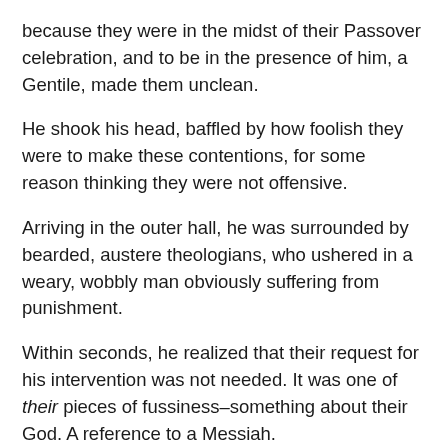because they were in the midst of their Passover celebration, and to be in the presence of him, a Gentile, made them unclean.
He shook his head, baffled by how foolish they were to make these contentions, for some reason thinking they were not offensive.
Arriving in the outer hall, he was surrounded by bearded, austere theologians, who ushered in a weary, wobbly man obviously suffering from punishment.
Within seconds, he realized that their request for his intervention was not needed. It was one of their pieces of fussiness–something about their God. A reference to a Messiah.
Realizing that the young, abused gentleman in front of him